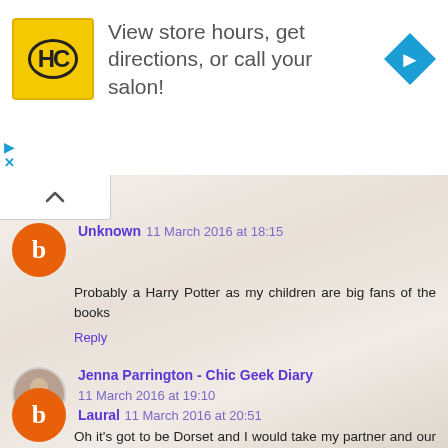[Figure (infographic): Advertisement banner: HC logo (yellow circle with HC text), text 'View store hours, get directions, or call your salon!', blue navigation arrow icon on right. Controls: triangle play button and X.]
Unknown 11 March 2016 at 18:15
Probably a Harry Potter as my children are big fans of the books
Reply
Jenna Parrington - Chic Geek Diary 11 March 2016 at 19:10
Oh it's got to be Dorset and I would take my partner and our son Noah.
Reply
Laural 11 March 2016 at 20:51